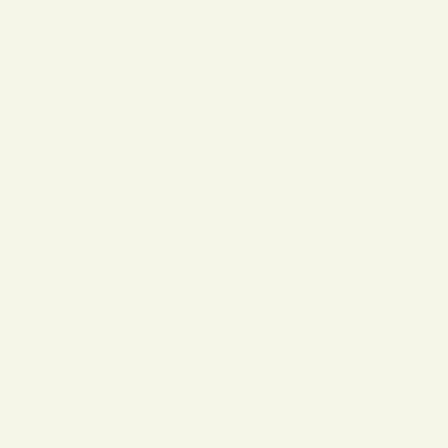| Subject | Author |
| --- | --- |
| Re: Not-really-brag-so-much-as-quirky-anecdote thread | aquinas |
| Re: Not-really-brag-so-much-as-quirky-anecdote thread | ljoy |
| Re: Not-really-brag-so-much-as-quirky-anecdote thread | MegMeg |
| Re: Not-really-brag-so-much-as-quirky-anecdote thread | Mana |
| Re: Not-really-brag-so-much-as-quirky-anecdote thread | George C |
| Re: Not-really-brag-so-much-as-quirky-anecdote thread | aquinas |